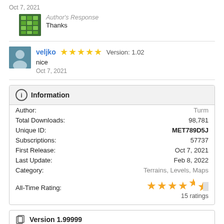Oct 7, 2021
Author's Response
Thanks
veljko  ★★★★★  Version: 1.02
nice
Oct 7, 2021
Information
| Field | Value |
| --- | --- |
| Author: | Turm |
| Total Downloads: | 98,781 |
| Unique ID: | MET789D5J |
| Subscriptions: | 57737 |
| First Release: | Oct 7, 2021 |
| Last Update: | Feb 8, 2022 |
| Category: | Terrains, Levels, Maps |
| All-Time Rating: | ★★★★½
15 ratings |
Version 1.99999